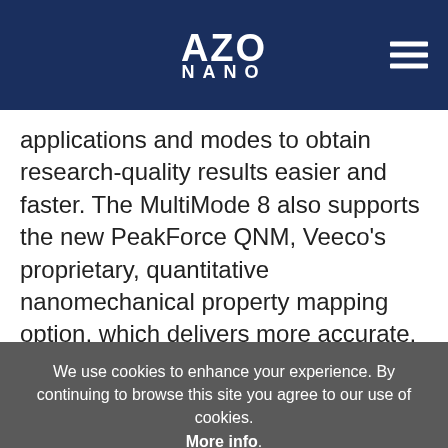AZO NANO
applications and modes to obtain research-quality results easier and faster. The MultiMode 8 also supports the new PeakForce QNM, Veeco's proprietary, quantitative nanomechanical property mapping option, which delivers more accurate, repeatable results for modulus and adhesion measurements while also helping to preserve sample and probe integrity. Finally, new NanoScope® Version 8.1 software offers a simplified interface and faster,
We use cookies to enhance your experience. By continuing to browse this site you agree to our use of cookies. More info.
✔ Accept
Cookie Settings